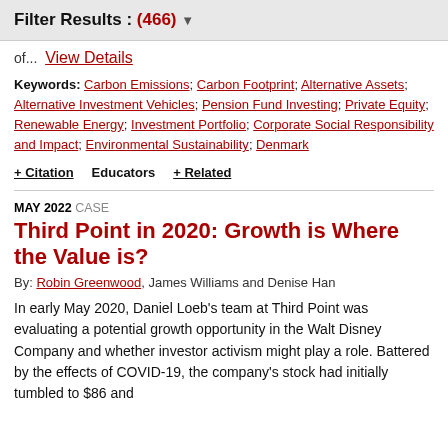Filter Results : (466)
of...  View Details
Keywords: Carbon Emissions; Carbon Footprint; Alternative Assets; Alternative Investment Vehicles; Pension Fund Investing; Private Equity; Renewable Energy; Investment Portfolio; Corporate Social Responsibility and Impact; Environmental Sustainability; Denmark
+ Citation   Educators   + Related
MAY 2022  CASE
Third Point in 2020: Growth is Where the Value is?
By: Robin Greenwood, James Williams and Denise Han
In early May 2020, Daniel Loeb's team at Third Point was evaluating a potential growth opportunity in the Walt Disney Company and whether investor activism might play a role. Battered by the effects of COVID-19, the company's stock had initially tumbled to $86 and